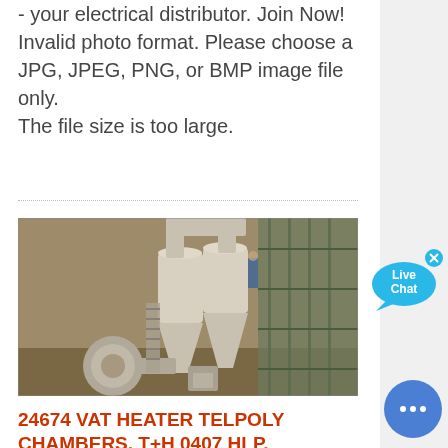your electrical distributor. Join Now! Invalid photo format. Please choose a JPG, JPEG, PNG, or BMP image file only. The file size is too large.
[Figure (photo): Industrial equipment photo showing large cylindrical dust collectors or cyclone separators with piping in a warehouse/factory setting]
24674 VAT HEATER TELPOLY CHAMBERS, T+H 0407 HLP, 250V ...